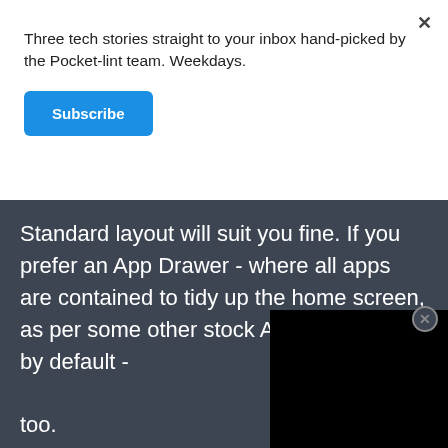Three tech stories straight to your inbox hand-picked by the Pocket-lint team. Weekdays.
Subscribe
Standard layout will suit you fine. If you prefer an App Drawer - where all apps are contained to tidy up the home screen, as per some other stock Android phones by default - too.
Swipe down from the top of the settings cog icon > Display > Home Screen Style > choose between Standard and Drawer options.
[Figure (screenshot): Black video player overlay positioned in the bottom-right of the dark section]
More if you are using Samsung, check that